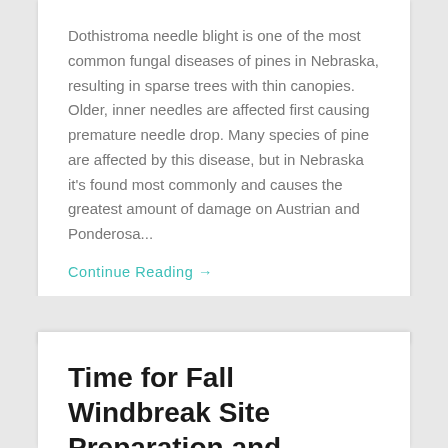Dothistroma needle blight is one of the most common fungal diseases of pines in Nebraska, resulting in sparse trees with thin canopies. Older, inner needles are affected first causing premature needle drop. Many species of pine are affected by this disease, but in Nebraska it's found most commonly and causes the greatest amount of damage on Austrian and Ponderosa...
Continue Reading →
May 25, 2021   0
Time for Fall Windbreak Site Preparation and Ordering Tree